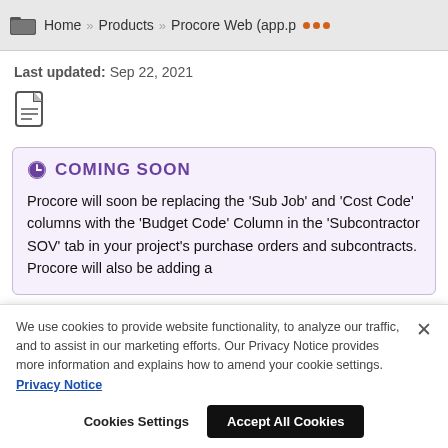Home » Products » Procore Web (app.p ...
Last updated: Sep 22, 2021
[Figure (other): PDF file icon]
COMING SOON
Procore will soon be replacing the 'Sub Job' and 'Cost Code' columns with the 'Budget Code' Column in the 'Subcontractor SOV' tab in your project's purchase orders and subcontracts. Procore will also be adding a
We use cookies to provide website functionality, to analyze our traffic, and to assist in our marketing efforts. Our Privacy Notice provides more information and explains how to amend your cookie settings. Privacy Notice
Cookies Settings   Accept All Cookies